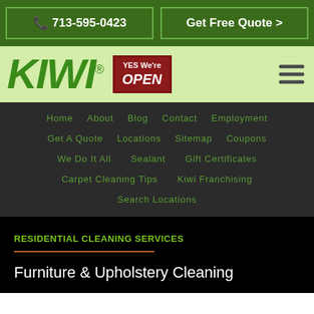📞 713-595-0423 | Get Free Quote >
[Figure (logo): KIWI logo with registered trademark, Yes We're Open badge, and hamburger menu icon on light green background]
Home
About
Blog
Contact
Employment
Get A Quote
Locations
Sitemap
Coupons
We Do It All
Sealant
Gift Certificates
Carpet Cleaning Tips
Kiwi Franchising
Search Locations
RESIDENTIAL CLEANING SERVICES
Furniture & Upholstery Cleaning